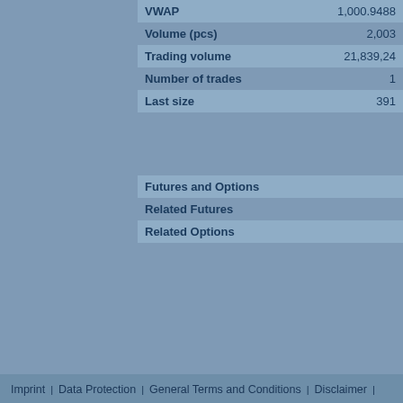|  |  |
| --- | --- |
| VWAP | 1,000.9488 |
| Volume (pcs) | 2,003 |
| Trading volume | 21,839,24 |
| Number of trades | 1 |
| Last size | 391 |
| Futures and Options |  |
| --- | --- |
| Related Futures |  |
| Related Options |  |
Imprint · Data Protection · General Terms and Conditions · Disclaimer